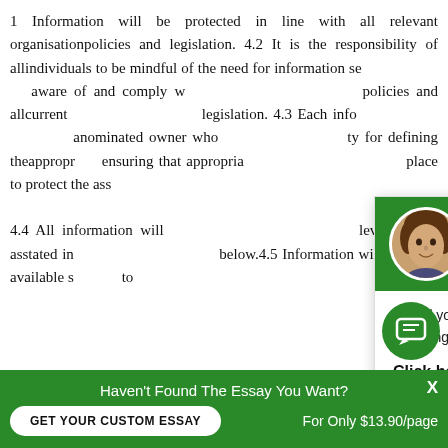1 Information will be protected in line with all relevant organisationpolicies and legislation. 4.2 It is the responsibility of allindividuals to be mindful of the need for information se... aware of and comply w... policies and allcurrent legislation. 4.3 Each info... anominated owner who... ty for defining theappropr... ensuring that appropria... place to protect the ass...
[Figure (other): Chat popup widget with green header showing avatar photo and greeting 'Hi! I'm Dora!', body text asking about custom essay with 'Click here' link, and green chat icon button]
4.4 All information will... level of risk asstated in... below.4.5 Information will be made available s... to
[Figure (other): Bottom green banner: 'Haven't Found The Essay You Want?' with GET YOUR CUSTOM ESSAY button and 'For Only $13.90/page' text]